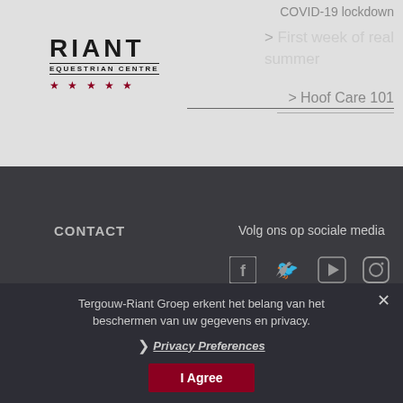[Figure (logo): Riant Equestrian Centre logo with text and five dark red stars]
COVID-19 lockdown
> Hoof Care 101
> First week of real summer
Volg ons op sociale media
CONTACT
DISCLAIMER
[Figure (infographic): Social media icons: Facebook, Twitter, YouTube, Instagram]
Tergouw-Riant Groep erkent het belang van het beschermen van uw gegevens en privacy.
> Privacy Preferences
I Agree